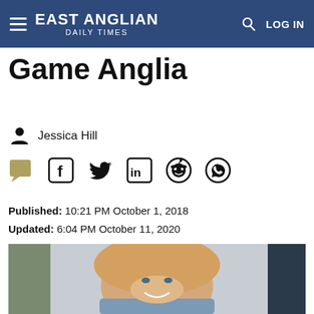EAST ANGLIAN DAILY TIMES
Game Anglia
Jessica Hill
Published: 10:21 PM October 1, 2018
Updated: 6:04 PM October 11, 2020
[Figure (photo): Smiling young blonde woman in a denim jacket, photographed outdoors]